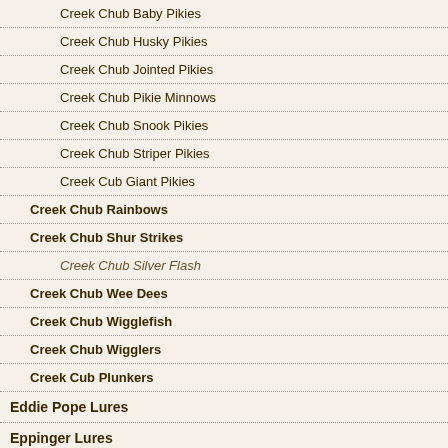Creek Chub Baby Pikies
Creek Chub Husky Pikies
Creek Chub Jointed Pikies
Creek Chub Pikie Minnows
Creek Chub Snook Pikies
Creek Chub Striper Pikies
Creek Cub Giant Pikies
Creek Chub Rainbows
Creek Chub Shur Strikes
Creek Chub Silver Flash
Creek Chub Wee Dees
Creek Chub Wigglefish
Creek Chub Wigglers
Creek Cub Plunkers
Eddie Pope Lures
Eppinger Lures
Dardevle Lures
Huskie Devle Lures
Gibbs Lures
Heddon Lures
Heddon Basser Lures
[Figure (photo): Gold/cream colored fishing lure with treble hooks, shown against gray background, in red-bordered frame]
EX GL
Buy Now »
[Figure (infographic): Orange circular FREE shipping badge]
[Figure (infographic): Orange circular FREE shipping badge]
[Figure (photo): Green/gold fishing lure with treble hooks, partially visible at bottom of page, in red-bordered frame]
Cr Re